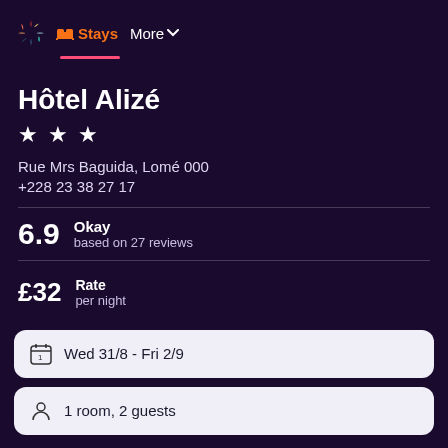Stays  More
Hôtel Alizé
★ ★ ★
Rue Mrs Baguida, Lomé 000
+228 23 38 27 17
6.9  Okay  based on 27 reviews
£32  Rate  per night
Wed 31/8  -  Fri 2/9
1 room, 2 guests